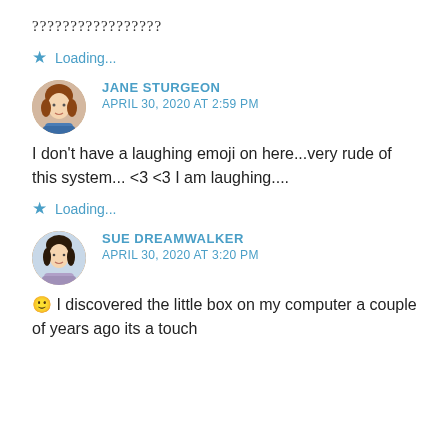?????????????????
★ Loading...
JANE STURGEON
APRIL 30, 2020 AT 2:59 PM
I don't have a laughing emoji on here...very rude of this system... <3 <3 I am laughing....
★ Loading...
SUE DREAMWALKER
APRIL 30, 2020 AT 3:20 PM
🙂 I discovered the little box on my computer a couple of years ago its a touch